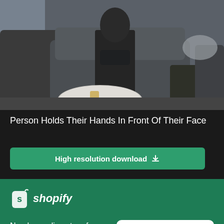[Figure (photo): Interior living room scene showing a person seated in a dark grey sofa chair with a round marble coffee table in front, throw blankets visible, and city window light in background.]
Person Holds Their Hands In Front Of Their Face
High resolution download ↓
[Figure (screenshot): Partial view of another image below the main content area with a close button (×) on the right]
[Figure (logo): Shopify logo — shopping bag icon with 's' and the word shopify in italic]
Need an online store for your business?
Start free trial